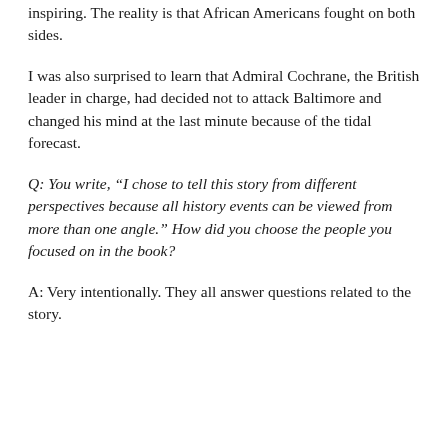inspiring. The reality is that African Americans fought on both sides.
I was also surprised to learn that Admiral Cochrane, the British leader in charge, had decided not to attack Baltimore and changed his mind at the last minute because of the tidal forecast.
Q: You write, “I chose to tell this story from different perspectives because all history events can be viewed from more than one angle.” How did you choose the people you focused on in the book?
A: Very intentionally. They all answer questions related to the story.